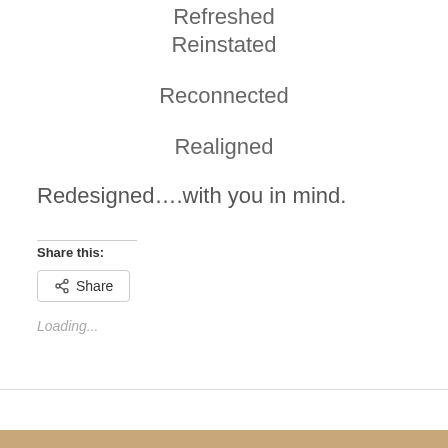Refreshed
Reinstated
Reconnected
Realigned
Redesigned….with you in mind.
Share this:
Share
Loading...